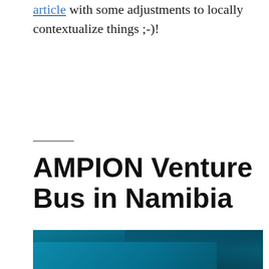article with some adjustments to locally contextualize things ;-)!
AMPION Venture Bus in Namibia
[Figure (photo): Blue-tinted photograph showing a bus with trees in the background, likely taken in Namibia during the AMPION Venture Bus event.]